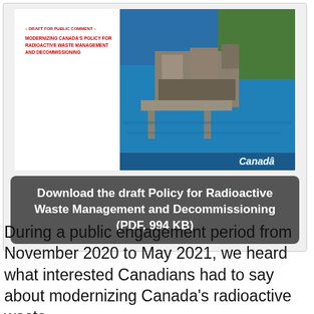[Figure (screenshot): Cover of the draft policy document 'Modernizing Canada's Policy for Radioactive Waste Management and Decommissioning' showing an aerial photo of a nuclear facility on a waterfront. The Canada wordmark appears at the bottom right.]
Download the draft Policy for Radioactive Waste Management and Decommissioning (PDF, 994 KB)
During a public engagement period from November 2020 to May 2021, we heard what interested Canadians had to say about modernizing Canada's radioactive waste